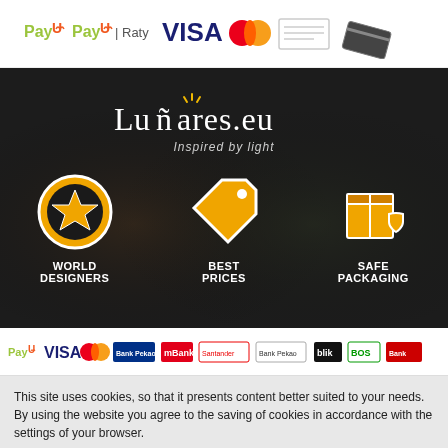[Figure (logo): Payment method logos: PayU, PayU Raty, VISA, Mastercard, bank transfer icon, gift card icon]
[Figure (infographic): Lunares.eu hero banner with dark background. Logo text 'Lunares.eu Inspired by light'. Three icons: star circle (WORLD DESIGNERS), price tag (BEST PRICES), delivery box with shield (SAFE PACKAGING)]
[Figure (logo): Payment method logos row: PayU, VISA, Mastercard, Bank Pekao, mBank, Santander, Bank Pekao, BLIK, BOS Bank, another bank]
This site uses cookies, so that it presents content better suited to your needs. By using the website you agree to the saving of cookies in accordance with the settings of your browser.
Accept